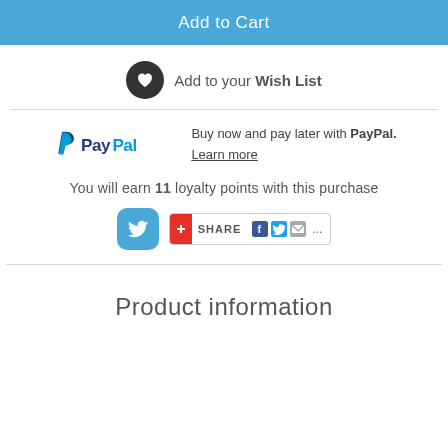Add to Cart
Add to your Wish List
Buy now and pay later with PayPal. Learn more
You will earn 11 loyalty points with this purchase
[Figure (infographic): Twitter bird icon button and a share bar with Facebook, Twitter, email icons]
Product information